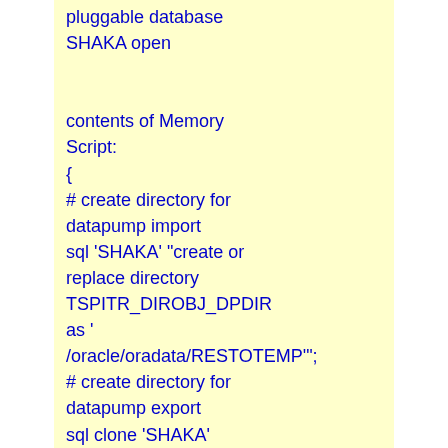pluggable database SHAKA open

contents of Memory Script:
{
# create directory for datapump import
sql 'SHAKA' "create or replace directory TSPITR_DIROBJ_DPDIR as '/oracle/oradata/RESTOTEMP'";
# create directory for datapump export
sql clone 'SHAKA' "create or replace directory TSPITR_DIROBJ_DPDIR as "